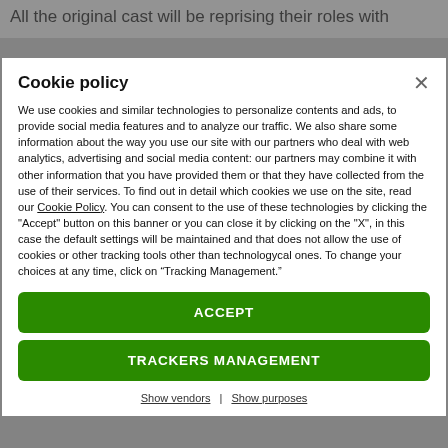All the original cast will be reprising their roles with
Cookie policy
We use cookies and similar technologies to personalize contents and ads, to provide social media features and to analyze our traffic. We also share some information about the way you use our site with our partners who deal with web analytics, advertising and social media content: our partners may combine it with other information that you have provided them or that they have collected from the use of their services. To find out in detail which cookies we use on the site, read our Cookie Policy. You can consent to the use of these technologies by clicking the "Accept" button on this banner or you can close it by clicking on the "X", in this case the default settings will be maintained and that does not allow the use of cookies or other tracking tools other than technologycal ones. To change your choices at any time, click on “Tracking Management.”
ACCEPT
TRACKERS MANAGEMENT
Show vendors | Show purposes